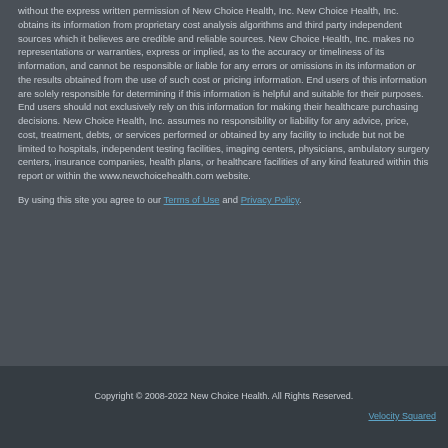without the express written permission of New Choice Health, Inc. New Choice Health, Inc. obtains its information from proprietary cost analysis algorithms and third party independent sources which it believes are credible and reliable sources. New Choice Health, Inc. makes no representations or warranties, express or implied, as to the accuracy or timeliness of its information, and cannot be responsible or liable for any errors or omissions in its information or the results obtained from the use of such cost or pricing information. End users of this information are solely responsible for determining if this information is helpful and suitable for their purposes. End users should not exclusively rely on this information for making their healthcare purchasing decisions. New Choice Health, Inc. assumes no responsibility or liability for any advice, price, cost, treatment, debts, or services performed or obtained by any facility to include but not be limited to hospitals, independent testing facilities, imaging centers, physicians, ambulatory surgery centers, insurance companies, health plans, or healthcare facilities of any kind featured within this report or within the www.newchoicehealth.com website.
By using this site you agree to our Terms of Use and Privacy Policy.
Copyright © 2008-2022 New Choice Health. All Rights Reserved.
Velocity Squared